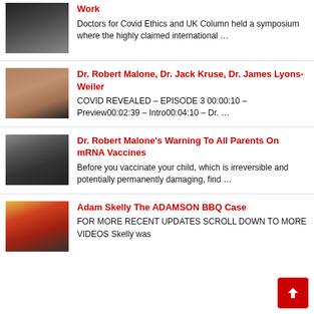Work — Doctors for Covid Ethics and UK Column held a symposium where the highly claimed international …
Dr. Robert Malone, Dr. Jack Kruse, Dr. James Lyons-Weiler — COVID REVEALED – EPISODE 3 00:00:10 – Preview00:02:39 – Intro00:04:10 – Dr. …
Dr. Robert Malone's Warning To All Parents On mRNA Vaccines — Before you vaccinate your child, which is irreversible and potentially permanently damaging, find …
Adam Skelly The ADAMSON BBQ Case — FOR MORE RECENT UPDATES SCROLL DOWN TO MORE VIDEOS Skelly was